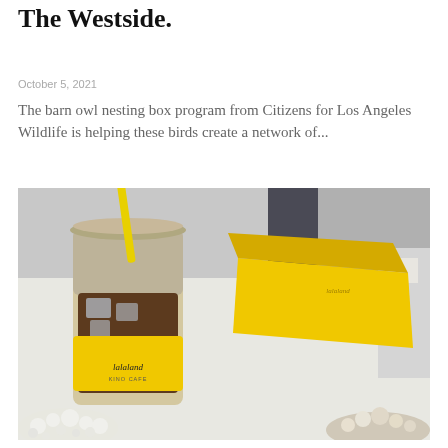The Westside.
October 5, 2021
The barn owl nesting box program from Citizens for Los Angeles Wildlife is helping these birds create a network of...
[Figure (photo): Photo of a lalaland coffee cafe iced drink in a plastic cup with a yellow sleeve and yellow straw, next to a yellow branded box, on a white surface with white flowers in the foreground.]